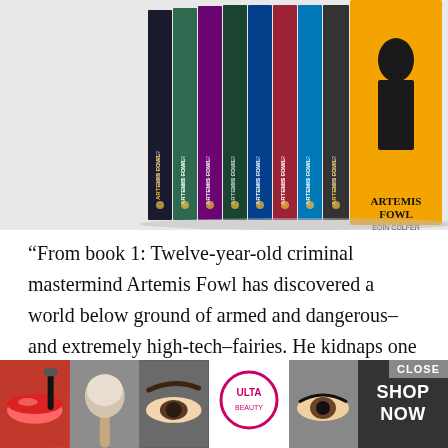[Figure (photo): A set of Artemis Fowl books by Eoin Colfer arranged in a fan/row display, showing colorful spines and the last book's cover with the character Artemis Fowl prominently displayed.]
“From book 1: Twelve-year-old criminal mastermind Artemis Fowl has discovered a world below ground of armed and dangerous–and extremely high-tech–fairies. He kidnaps one of them. H... Shor...
[Figure (photo): An Ulta Beauty advertisement overlay showing close-up images of makeup/cosmetics (lips with lipstick, powder brush, eyebrows, Ulta Beauty logo, eyes) with a CLOSE button and SHOP NOW call to action.]